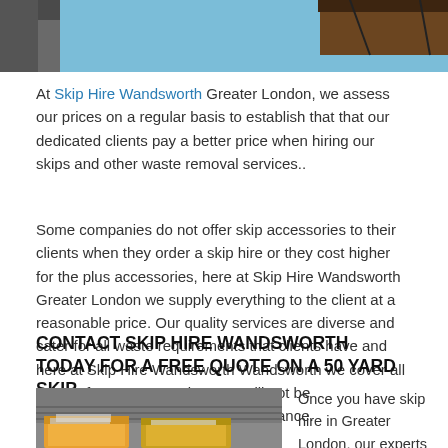[Figure (photo): Partial view of skip/bin being lifted against a blue sky background]
At Skip Hire Wandsworth Greater London, we assess our prices on a regular basis to establish that that our dedicated clients pay a better price when hiring our skips and other waste removal services.
Some companies do not offer skip accessories to their clients when they order a skip hire or they cost higher for the plus accessories, here at Skip Hire Wandsworth Greater London we supply everything to the client at a reasonable price. Our quality services are diverse and cater for all waste requirements that clients have and here at Skip Hire Wandsworth Wandsworth we cover all areas of waste removal so you will not be inconvenienced alongside our assistance.
CONTACT SKIP HIRE WANDSWORTH TODAY FOR A FREE QUOTE ON A 50 YARD SKIP
[Figure (photo): Yellow skip bins outside a building]
Once you have skip hire in Greater London, our experts at Skip Hire Wandsworth